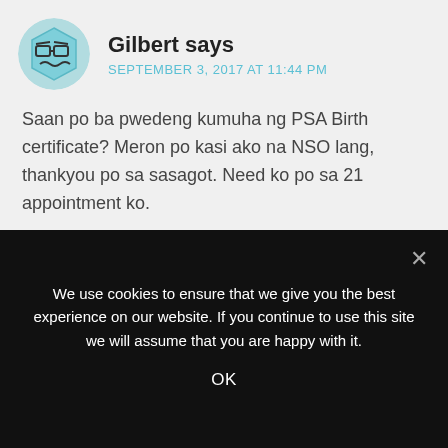[Figure (illustration): Avatar/profile image of commenter Gilbert — cartoon hexagonal face with glasses and wavy lines for mouth, teal/green color]
Gilbert says
SEPTEMBER 3, 2017 AT 11:44 PM
Saan po ba pwedeng kumuha ng PSA Birth certificate? Meron po kasi ako na NSO lang, thankyou po sa sasagot. Need ko po sa 21 appointment ko.
Reply
We use cookies to ensure that we give you the best experience on our website. If you continue to use this site we will assume that you are happy with it.
OK